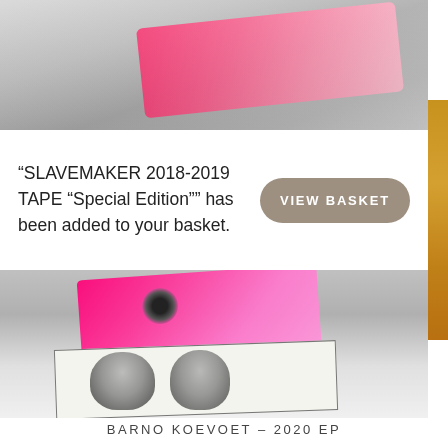[Figure (photo): Close-up photo of a translucent pink/red cassette tape on a graphic art card with black and white illustration]
“SLAVEMAKER 2018-2019 TAPE “Special Edition”” has been added to your basket.
VIEW BASKET
BARNO KOEVOET – 2020 EP